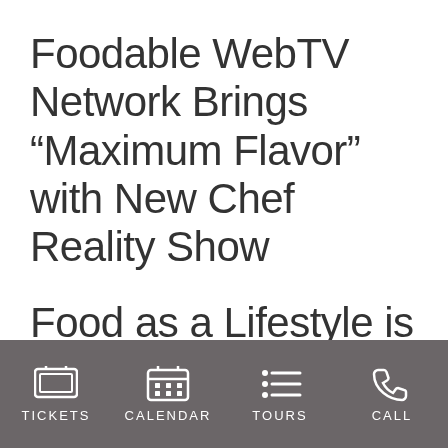Foodable WebTV Network Brings “Maximum Flavor” with New Chef Reality Show
Food as a Lifestyle is the first reality show of its kind, giving viewers a behind-the-scenes look at what it means to be a chef
TICKETS   CALENDAR   TOURS   CALL